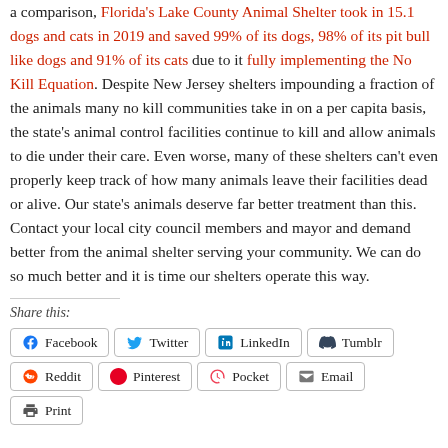a comparison, Florida's Lake County Animal Shelter took in 15.1 dogs and cats in 2019 and saved 99% of its dogs, 98% of its pit bull like dogs and 91% of its cats due to it fully implementing the No Kill Equation. Despite New Jersey shelters impounding a fraction of the animals many no kill communities take in on a per capita basis, the state's animal control facilities continue to kill and allow animals to die under their care. Even worse, many of these shelters can't even properly keep track of how many animals leave their facilities dead or alive. Our state's animals deserve far better treatment than this. Contact your local city council members and mayor and demand better from the animal shelter serving your community. We can do so much better and it is time our shelters operate this way.
Share this:
[Figure (other): Social sharing buttons: Facebook, Twitter, LinkedIn, Tumblr, Reddit, Pinterest, Pocket, Email, Print]